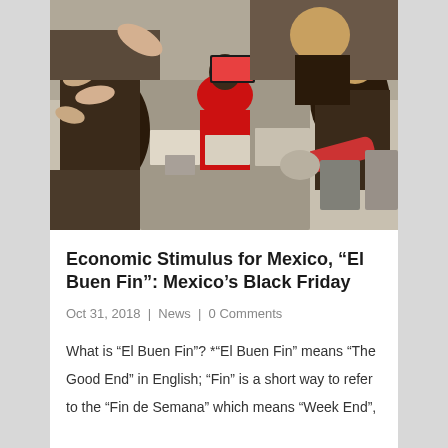[Figure (photo): Overhead view of a crowded store during a shopping event, people reaching for shoe boxes, employee in red shirt visible, shoppers grabbing merchandise from shelves and bins]
Economic Stimulus for Mexico, “El Buen Fin”: Mexico’s Black Friday
Oct 31, 2018 | News | 0 Comments
What is “El Buen Fin”? *“El Buen Fin” means “The Good End” in English; “Fin” is a short way to refer to the “Fin de Semana” which means “Week End”,